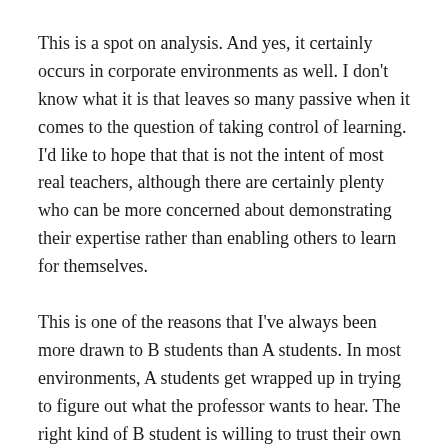This is a spot on analysis. And yes, it certainly occurs in corporate environments as well. I don't know what it is that leaves so many passive when it comes to the question of taking control of learning. I'd like to hope that that is not the intent of most real teachers, although there are certainly plenty who can be more concerned about demonstrating their expertise rather than enabling others to learn for themselves.
This is one of the reasons that I've always been more drawn to B students than A students. In most environments, A students get wrapped up in trying to figure out what the professor wants to hear. The right kind of B student is willing to trust their own interpretations.
The structural problem is educational settings